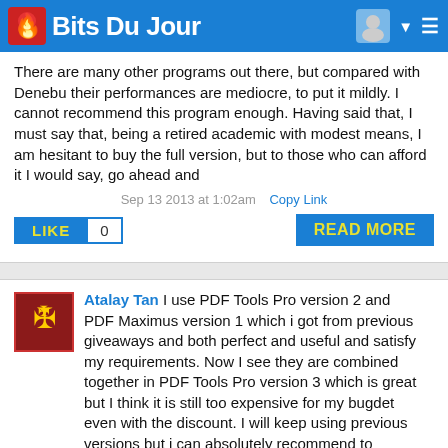Bits Du Jour
There are many other programs out there, but compared with Denebu their performances are mediocre, to put it mildly. I cannot recommend this program enough. Having said that, I must say that, being a retired academic with modest means, I am hesitant to buy the full version, but to those who can afford it I would say, go ahead and
Sep 13 2013 at 1:02am   Copy Link
LIKE  0  READ MORE
Atalay Tan  I use PDF Tools Pro version 2 and PDF Maximus version 1 which i got from previous giveaways and both perfect and useful and satisfy my requirements. Now I see they are combined together in PDF Tools Pro version 3 which is great but I think it is still too expensive for my bugdet even with the discount. I will keep using previous versions but i can absolutely recommend to everyone to not miss this deal if
Sep 13 2013 at 3:41am   Copy Link
LIKE  0  READ MORE